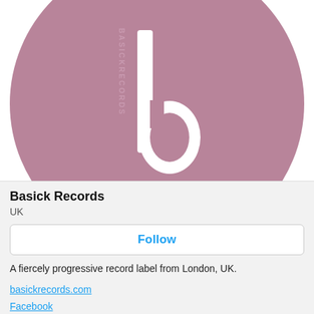[Figure (logo): Basick Records logo: a large mauve/dusty pink circle on white background, with a white stylized letter 'b' in the center and 'BASICKRECORDS' text written vertically along the left inner edge of the circle in lighter pink]
Basick Records
UK
Follow
A fiercely progressive record label from London, UK.
basickrecords.com
Facebook